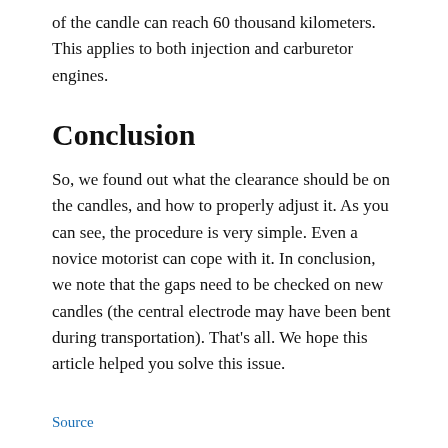of the candle can reach 60 thousand kilometers. This applies to both injection and carburetor engines.
Conclusion
So, we found out what the clearance should be on the candles, and how to properly adjust it. As you can see, the procedure is very simple. Even a novice motorist can cope with it. In conclusion, we note that the gaps need to be checked on new candles (the central electrode may have been bent during transportation). That's all. We hope this article helped you solve this issue.
Source
Related Posts: